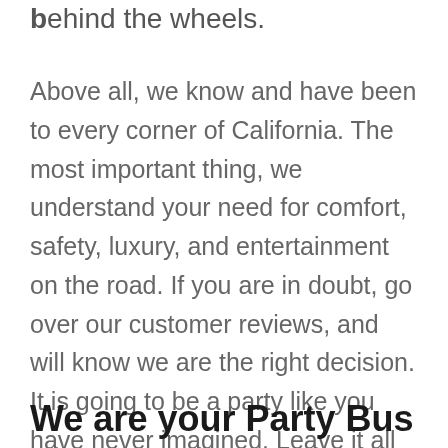b behind the wheels.
Above all, we know and have been to every corner of California. The most important thing, we understand your need for comfort, safety, luxury, and entertainment on the road. If you are in doubt, go over our customer reviews, and will know we are the right decision. It is going to be a party like you have never imagined. Leave it all to us, and this day is going down the memory lane as the greatest ever.
We are your Party Bus